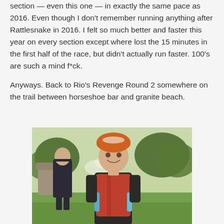section — even this one — in exactly the same pace as 2016. Even though I don't remember running anything after Rattlesnake in 2016. I felt so much better and faster this year on every section except where lost the 15 minutes in the first half of the race, but didn't actually run faster. 100's are such a mind f*ck.
Anyways. Back to Rio's Revenge Round 2 somewhere on the trail between horseshoe bar and granite beach.
[Figure (photo): A smiling woman wearing an orange visor/cap and a running vest with hydration bottles, standing outdoors on a sunny day. A man in a black jacket is visible in the background left, along with trees and a building. Green grass and fall foliage in the background.]